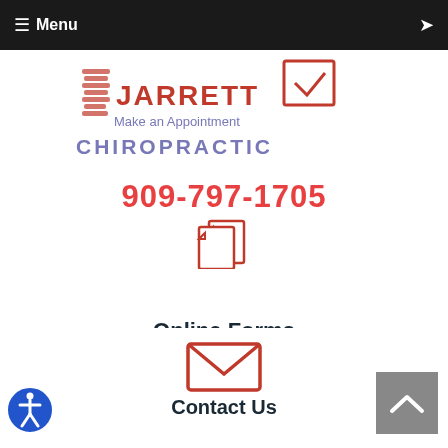≡ Menu
[Figure (logo): Jarrett Chiropractic logo with red spine illustration and blue/red text]
Make an Appointment
909-797-1705
Online Forms
Contact Us